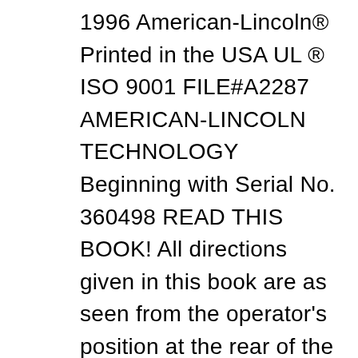1996 American-Lincoln® Printed in the USA UL ® ISO 9001 FILE#A2287 AMERICAN-LINCOLN TECHNOLOGY Beginning with Serial No. 360498 READ THIS BOOK! All directions given in this book are as seen from the operator's position at the rear of the machine. This book has important information for the use and safe operation of this machine. Failure to read this ... Manual & Parts List 114RS SWEEPER 1996 American-Lincoln® Printed in the USA UL ® ISO 9001 FILE#A2287 AMERICAN-LINCOLN TECHNOLOGY Beginning with Serial No. 360498 READ THIS BOOK! All directions given in this book are as seen from the operator's position at the rear of the machine. This book has important